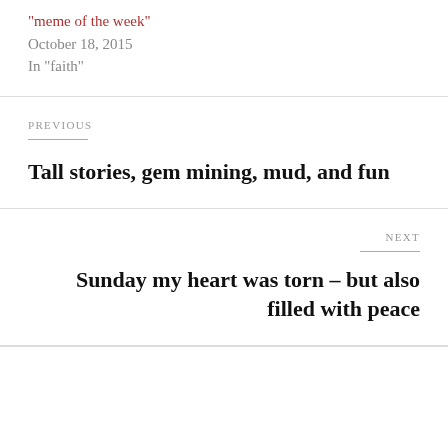“meme of the week”
October 18, 2015
In “faith”
PREVIOUS
Tall stories, gem mining, mud, and fun
NEXT
Sunday my heart was torn – but also filled with peace